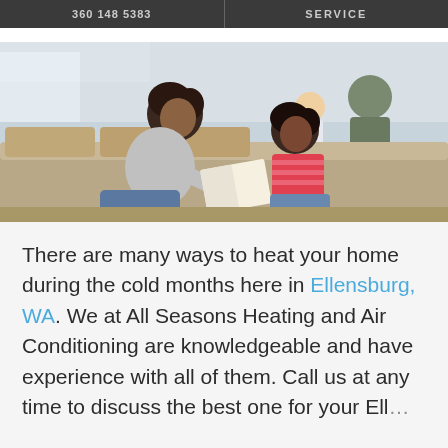360 148 5383 | SERVICE
[Figure (photo): A mother and daughter sitting on a couch reading a book together, smiling. A man is visible in the background at a counter.]
There are many ways to heat your home during the cold months here in Ellensburg, WA. We at All Seasons Heating and Air Conditioning are knowledgeable and have experience with all of them. Call us at any time to discuss the best one for your Ellensburg, WA home. And to get the f...